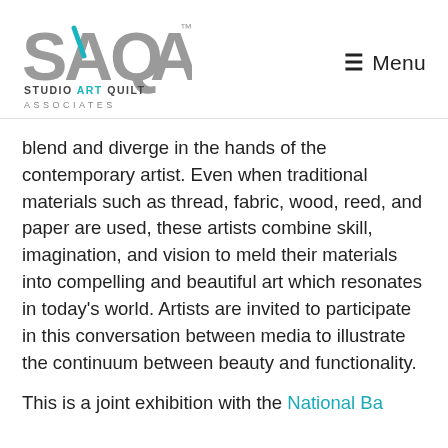[Figure (logo): SAQA Studio Art Quilt Associates logo with teal and gray coloring]
≡ Menu
blend and diverge in the hands of the contemporary artist. Even when traditional materials such as thread, fabric, wood, reed, and paper are used, these artists combine skill, imagination, and vision to meld their materials into compelling and beautiful art which resonates in today's world. Artists are invited to participate in this conversation between media to illustrate the continuum between beauty and functionality.
This is a joint exhibition with the National Basketry Organization